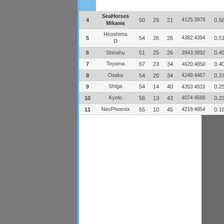| # | Team | GP | W | L | Score | Pct |
| --- | --- | --- | --- | --- | --- | --- |
| 4 | SeaHorses Mikawa | 50 | 29 | 21 | 4125:3978 | 0.580 |
| 5 | Hiroshima D | 54 | 28 | 26 | 4382:4394 | 0.519 |
| 6 | Shinshu | 51 | 25 | 26 | 3943:3892 | 0.490 |
| 7 | Toyama | 57 | 23 | 34 | 4620:4850 | 0.404 |
| 8 | Osaka | 54 | 20 | 34 | 4249:4467 | 0.370 |
| 9 | Shiga | 54 | 14 | 40 | 4353:4916 | 0.259 |
| 10 | Kyoto | 56 | 13 | 43 | 4074:4588 | 0.232 |
| 11 | NeoPhoenix | 55 | 10 | 45 | 4218:4854 | 0.182 |